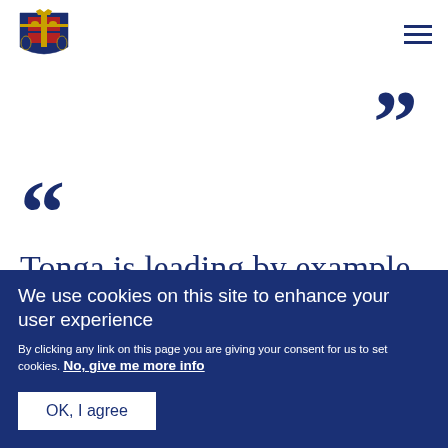[Figure (logo): UK Government coat of arms logo in dark blue]
" (closing quotation mark, decorative, top right)
" (opening quotation mark, decorative, left)
Tonga is leading by example and
We use cookies on this site to enhance your user experience
By clicking any link on this page you are giving your consent for us to set cookies. No, give me more info
OK, I agree